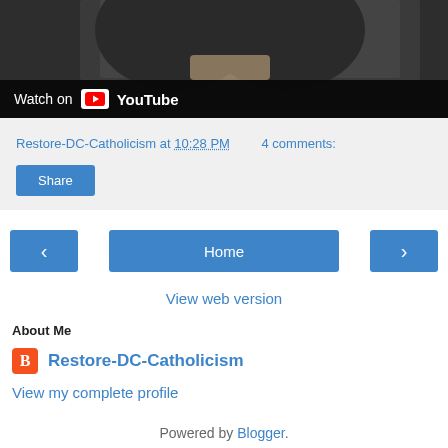[Figure (screenshot): YouTube video thumbnail showing a man in a dark suit holding something, with a 'Watch on YouTube' overlay bar at the bottom]
Restore-DC-Catholicism at 10:28 PM    4 comments:
Share
< Home >
View web version
About Me
Restore-DC-Catholicism
View my complete profile
Powered by Blogger.